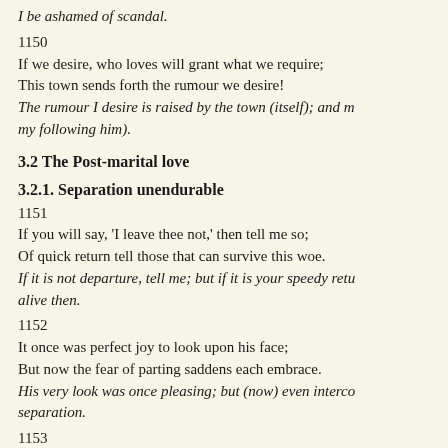I be ashamed of scandal.
1150
If we desire, who loves will grant what we require;
This town sends forth the rumour we desire!
The rumour I desire is raised by the town (itself); and m
my following him).
3.2 The Post-marital love
3.2.1. Separation unendurable
1151
If you will say, 'I leave thee not,' then tell me so;
Of quick return tell those that can survive this woe.
If it is not departure, tell me; but if it is your speedy retu
alive then.
1152
It once was perfect joy to look upon his face;
But now the fear of parting saddens each embrace.
His very look was once pleasing; but (now) even interco
separation.
1153
To trust henceforth is hard, if ever he depart,
E'en he, who knows his promise and my breaking heart.